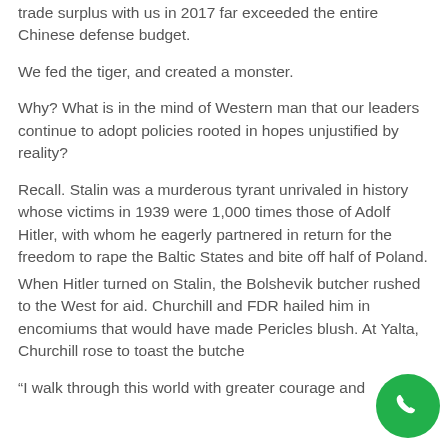trade surplus with us in 2017 far exceeded the entire Chinese defense budget.
We fed the tiger, and created a monster.
Why? What is in the mind of Western man that our leaders continue to adopt policies rooted in hopes unjustified by reality?
Recall. Stalin was a murderous tyrant unrivaled in history whose victims in 1939 were 1,000 times those of Adolf Hitler, with whom he eagerly partnered in return for the freedom to rape the Baltic States and bite off half of Poland.
When Hitler turned on Stalin, the Bolshevik butcher rushed to the West for aid. Churchill and FDR hailed him in encomiums that would have made Pericles blush. At Yalta, Churchill rose to toast the butche
“I walk through this world with greater courage and